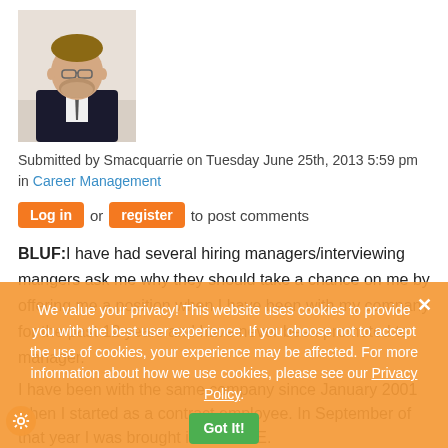[Figure (photo): Profile photo of a man in a dark suit and tie with glasses]
Submitted by Smacquarrie on Tuesday June 25th, 2013 5:59 pm in Career Management
Log in or register to post comments
BLUF:I have had several hiring managers/interviewing mangers ask me why they should take a chance on me by offering me a position when I have been with my company for the past 12 years and have never been promoted to manager.
I have been with the same company since January 2001 when I started as a contract employee. In September of that year I was brought in as a FTE.
In 2003 I was moved to a different group (a promotion of sorts).
We value your privacy! This website uses cookies to provide you with the best user experience. If you choose not to accept the use of cookies, your experience may be affected. For more information about how we use cookies, please see our Privacy Policy.